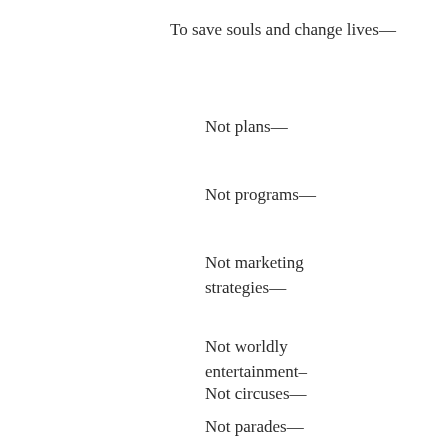To save souls and change lives—
Not plans—
Not programs—
Not marketing strategies—
Not worldly entertainment–
Not circuses—
Not parades—